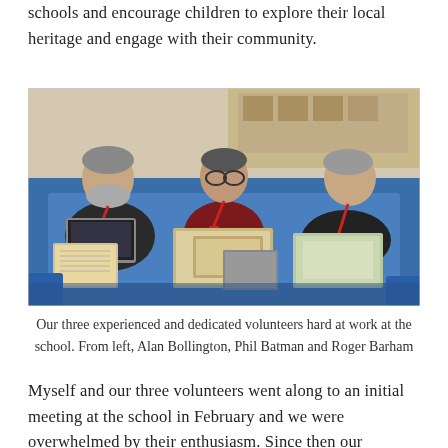schools and encourage children to explore their local heritage and engage with their community.
[Figure (photo): Three men with red lanyards sitting around a blue table in a classroom, looking at open books and documents, with one using a laptop. Books and papers are spread across the table.]
Our three experienced and dedicated volunteers hard at work at the school. From left, Alan Bollington, Phil Batman and Roger Barham
Myself and our three volunteers went along to an initial meeting at the school in February and we were overwhelmed by their enthusiasm. Since then our volunteers have been meeting every Friday at the school